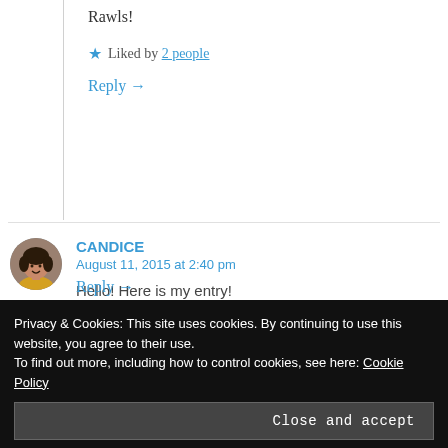Rawls!
★ Liked by 2 people
Reply →
[Figure (photo): Circular avatar photo of Candice, a woman smiling]
CANDICE
August 11, 2015 at 2:40 pm
Hello! Here is my entry!
Privacy & Cookies: This site uses cookies. By continuing to use this website, you agree to their use.
To find out more, including how to control cookies, see here: Cookie Policy
Close and accept
Reply →